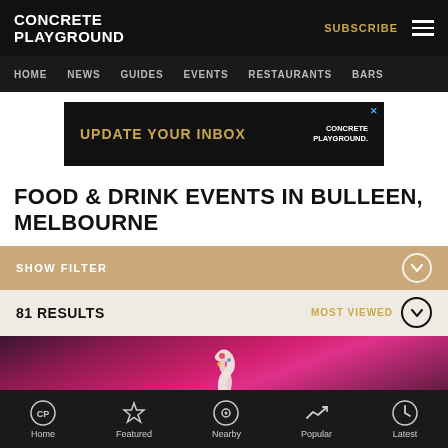CONCRETE PLAYGROUND | SUBSCRIBE
HOME   NEWS   GUIDES   EVENTS   RESTAURANTS   BARS
[Figure (screenshot): Advertisement banner: black background with gold text 'UPDATE YOUR INBOX' and 'CONCRETE PLAYGROUND.' logo on right]
FOOD & DRINK EVENTS IN BULLEEN, MELBOURNE
SHOW FILTER
81 RESULTS   MOST VIEWED
[Figure (photo): Close-up photo of a cupcake with cream topping against a pink/magenta background]
Home   Featured   Nearby   Popular   Latest